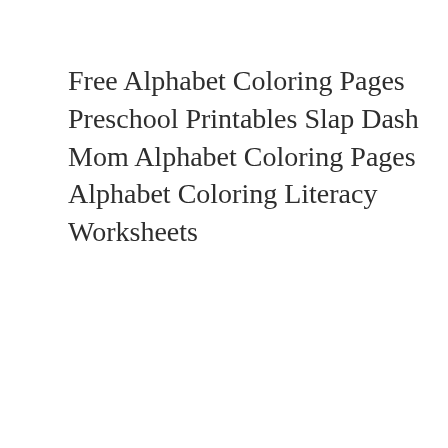Free Alphabet Coloring Pages Preschool Printables Slap Dash Mom Alphabet Coloring Pages Alphabet Coloring Literacy Worksheets